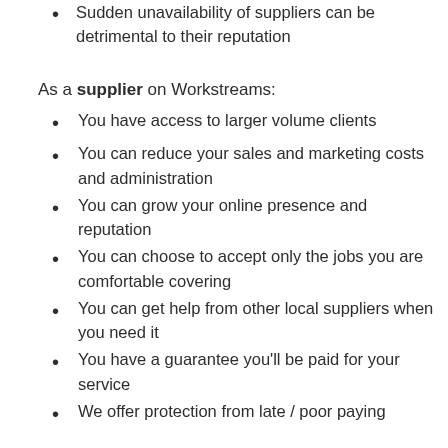Sudden unavailability of suppliers can be detrimental to their reputation
As a supplier on Workstreams:
You have access to larger volume clients
You can reduce your sales and marketing costs and administration
You can grow your online presence and reputation
You can choose to accept only the jobs you are comfortable covering
You can get help from other local suppliers when you need it
You have a guarantee you'll be paid for your service
We offer protection from late / poor paying